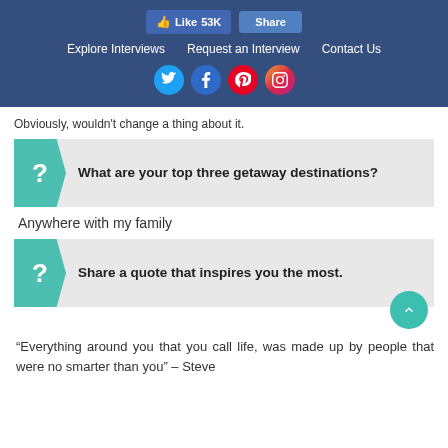Like 53K  Share  |  Explore Interviews  |  Request an Interview  |  Contact Us
Obviously, wouldn't change a thing about it.
[Figure (infographic): Question block with teal arrow icon showing: What are your top three getaway destinations?]
Anywhere with my family
[Figure (infographic): Question block with teal arrow icon showing: Share a quote that inspires you the most.]
“Everything around you that you call life, was made up by people that were no smarter than you” – Steve